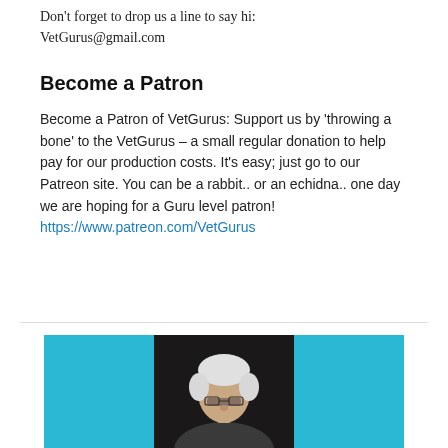Don't forget to drop us a line to say hi: VetGurus@gmail.com
Become a Patron
Become a Patron of VetGurus: Support us by 'throwing a bone' to the VetGurus – a small regular donation to help pay for our production costs. It's easy; just go to our Patreon site. You can be a rabbit.. or an echidna.. one day we are hoping for a Guru level patron!
https://www.patreon.com/VetGurus
[Figure (photo): Photo of an elderly person with white hair and glasses, partially visible through what appears to be a blue doorway or frame, shot in low light.]